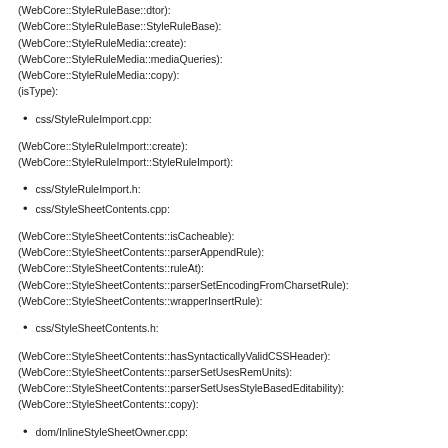(WebCore::StyleRuleBase::dtor):
(WebCore::StyleRuleBase::StyleRuleBase):
(WebCore::StyleRuleMedia::create):
(WebCore::StyleRuleMedia::mediaQueries):
(WebCore::StyleRuleMedia::copy):
(isType):
css/StyleRuleImport.cpp:
(WebCore::StyleRuleImport::create):
(WebCore::StyleRuleImport::StyleRuleImport):
css/StyleRuleImport.h:
css/StyleSheetContents.cpp:
(WebCore::StyleSheetContents::isCacheable):
(WebCore::StyleSheetContents::parserAppendRule):
(WebCore::StyleSheetContents::ruleAt):
(WebCore::StyleSheetContents::parserSetEncodingFromCharsetRule):
(WebCore::StyleSheetContents::wrapperInsertRule):
css/StyleSheetContents.h:
(WebCore::StyleSheetContents::hasSyntacticallyValidCSSHeader):
(WebCore::StyleSheetContents::parserSetUsesRemUnits):
(WebCore::StyleSheetContents::parserSetUsesStyleBasedEditability):
(WebCore::StyleSheetContents::copy):
dom/InlineStyleSheetOwner.cpp: